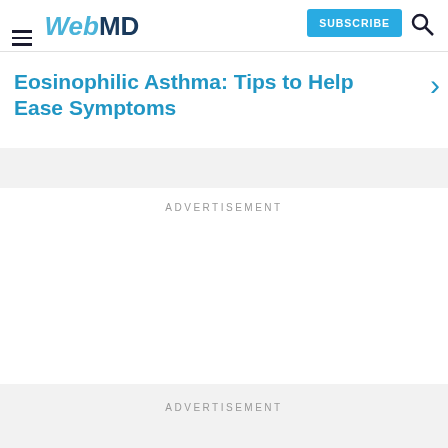WebMD
Eosinophilic Asthma: Tips to Help Ease Symptoms
ADVERTISEMENT
ADVERTISEMENT